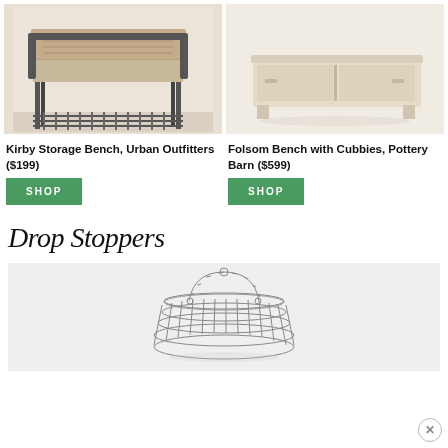[Figure (photo): Kirby Storage Bench from Urban Outfitters - wooden bench with metal frame and lower shelf]
[Figure (photo): Folsom Bench with Cubbies from Pottery Barn - light wood bench with sliding door compartments]
Kirby Storage Bench, Urban Outfitters ($199)
SHOP
Folsom Bench with Cubbies, Pottery Barn ($599)
SHOP
Drop Stoppers
[Figure (photo): Wire basket with handle - decorative metal wire storage basket]